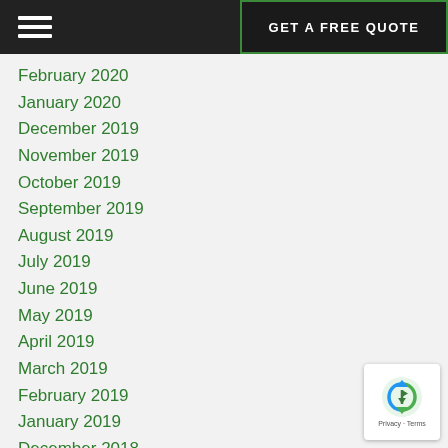GET A FREE QUOTE
February 2020
January 2020
December 2019
November 2019
October 2019
September 2019
August 2019
July 2019
June 2019
May 2019
April 2019
March 2019
February 2019
January 2019
December 2018